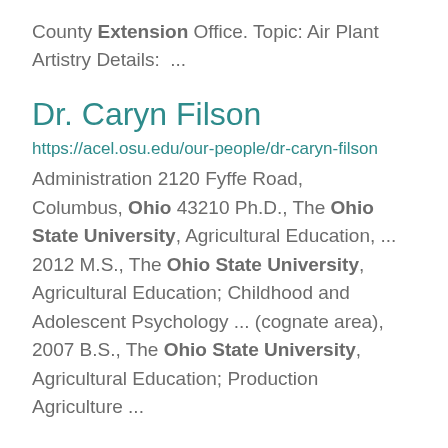County Extension Office. Topic: Air Plant Artistry Details: ...
Dr. Caryn Filson
https://acel.osu.edu/our-people/dr-caryn-filson
Administration 2120 Fyffe Road, Columbus, Ohio 43210 Ph.D., The Ohio State University, Agricultural Education, ... 2012 M.S., The Ohio State University, Agricultural Education; Childhood and Adolescent Psychology ... (cognate area), 2007 B.S., The Ohio State University, Agricultural Education; Production Agriculture ...